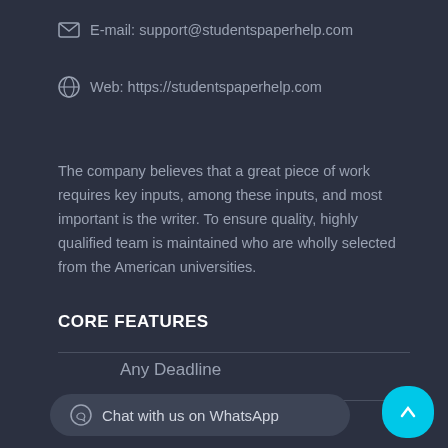E-mail: support@studentspaperhelp.com
Web: https://studentspaperhelp.com
The company believes that a great piece of work requires key inputs, among these inputs, and most important is the writer. To ensure quality, highly qualified team is maintained who are wholly selected from the American universities.
CORE FEATURES
Any Deadline
Guaranteed Confidentiality
Chat with us on WhatsApp